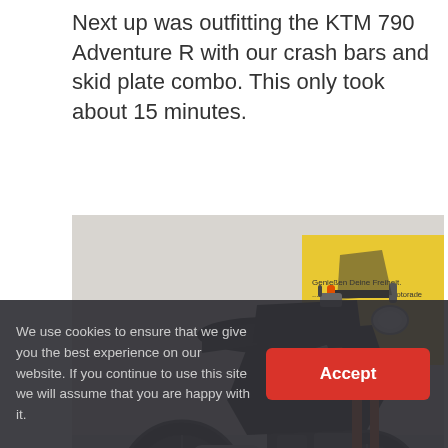Next up was outfitting the KTM 790 Adventure R with our crash bars and skid plate combo. This only took about 15 minutes.
[Figure (photo): KTM 790 Adventure R motorcycle with orange crash bars and skid plate, displayed indoors at what appears to be a motorcycle show or dealership. The bike is black and orange with KTM branding. In the background is a yellow ADAC service display.]
We use cookies to ensure that we give you the best experience on our website. If you continue to use this site we will assume that you are happy with it.